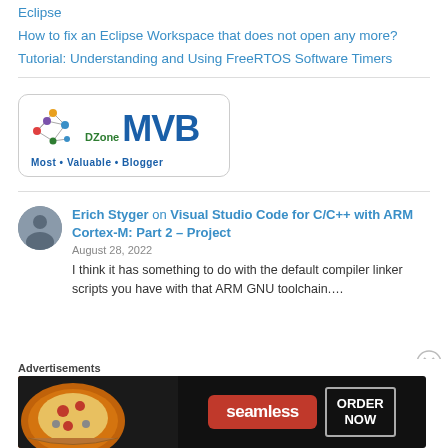Eclipse
How to fix an Eclipse Workspace that does not open any more?
Tutorial: Understanding and Using FreeRTOS Software Timers
[Figure (logo): DZone Most Valuable Blogger (MVB) badge with network graph icon]
Erich Styger on Visual Studio Code for C/C++ with ARM Cortex-M: Part 2 – Project
August 28, 2022
I think it has something to do with the default compiler linker scripts you have with that ARM GNU toolchain....
Advertisements
[Figure (screenshot): Seamless food delivery advertisement banner with pizza image, seamless logo in red pill, ORDER NOW button]